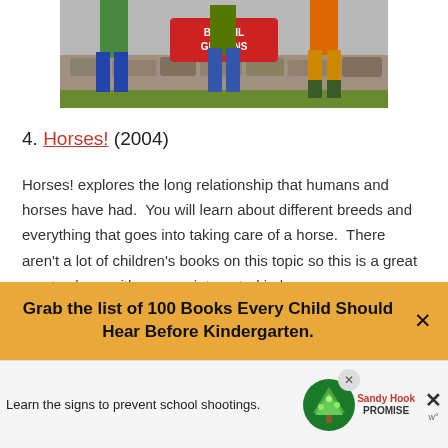[Figure (illustration): Top portion of a children's book cover by Gail Gibbons, showing illustrated figures of children and adults near a barn/stone wall with a red sign reading 'BY GAIL GIBBONS'. Partial crop showing lower half of figures.]
4. Horses! (2004)
Horses! explores the long relationship that humans and horses have had. You will learn about different breeds and everything that goes into taking care of a horse. There aren't a lot of children's books on this topic so this is a great one to share with anyone interested in horses.
Grab the list of 100 Books Every Child Should Hear Before Kindergarten.
Learn the signs to prevent school shootings.